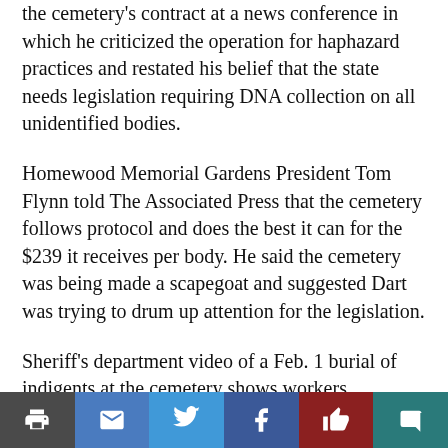the cemetery's contract at a news conference in which he criticized the operation for haphazard practices and restated his belief that the state needs legislation requiring DNA collection on all unidentified bodies.
Homewood Memorial Gardens President Tom Flynn told The Associated Press that the cemetery follows protocol and does the best it can for the $239 it receives per body. He said the cemetery was being made a scapegoat and suggested Dart was trying to drum up attention for the legislation.
Sheriff's department video of a Feb. 1 burial of indigents at the cemetery shows workers unloading a rental truck packed to the ceiling with more than a dozen wood coffins. In the video, workers use a backhoe to stack the boxes into a single open hole in the ground
[Figure (infographic): Social sharing bar with icons: print, email, Twitter, Facebook, like/thumbs-up, comment/chat bubble]